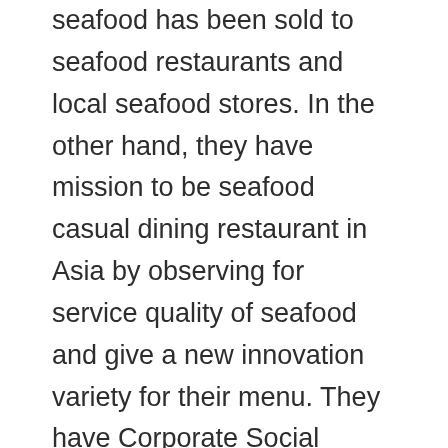seafood has been sold to seafood restaurants and local seafood stores. In the other hand, they have mission to be seafood casual dining restaurant in Asia by observing for service quality of seafood and give a new innovation variety for their menu. They have Corporate Social Responsibility (CSR) to feed nation, mentally and physically. They have regularly schedule for coming to the orphanages and old folks ' homes to give experiences are satisfy from their markets. The